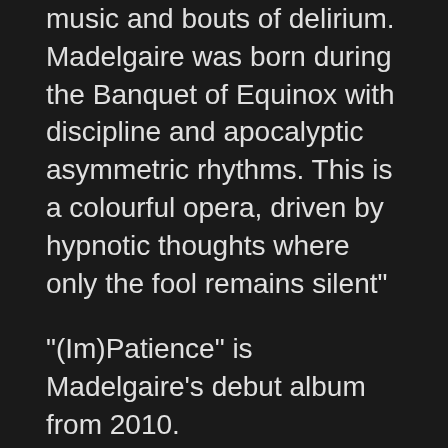music and bouts of delirium. Madelgaire was born during the Banquet of Equinox with discipline and apocalyptic asymmetric rhythms. This is a colourful opera, driven by hypnotic thoughts where only the fool remains silent"
"(Im)Patience" is Madelgaire's debut album from 2010.
Stéphane Letertre – electric guitars, mandolin, acoustic guitars, vocals, special bottle effects; Dominique Lossignal – acoustic guitars, electric guitars, lead vocals, special effects; Pascal Rocteur – drums, lead vocals, percussion, special voice effects, sound effects; Christian "Memem" Vanderwhale – bass guitar, special voice effects; Bertrand Vanvarembergh – keyboards, Moog, Harmophon (custom 1970), Mellotron, special voice effects, MPGTS (Mobile